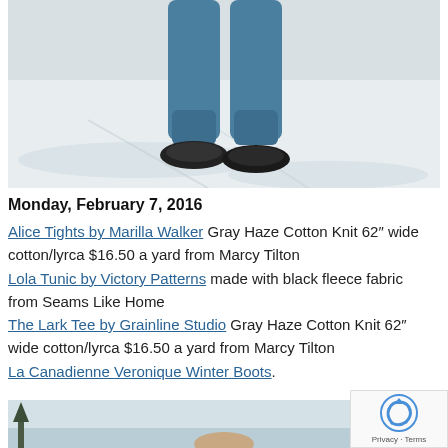[Figure (photo): Lower half of a person standing in snow, wearing blue/teal jogger pants and black sneakers, snowy road background]
Monday, February 7, 2016
Alice Tights by Marilla Walker Gray Haze Cotton Knit 62″ wide cotton/lyrca $16.50 a yard from Marcy Tilton
Lola Tunic by Victory Patterns made with black fleece fabric from Seams Like Home
The Lark Tee by Grainline Studio Gray Haze Cotton Knit 62″ wide cotton/lyrca $16.50 a yard from Marcy Tilton
La Canadienne Veronique Winter Boots.
[Figure (photo): Partial view of a person outdoors in a snowy winter setting with pine trees]